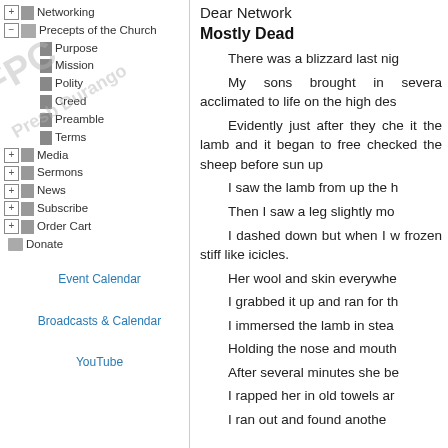Networking
Precepts of the Church
Purpose
Mission
Polity
Creed
Preamble
Terms
Media
Sermons
News
Subscribe
Order Cart
Donate
Event Calendar
Broadcasts & Calendar
YouTube
Dear Network
Mostly Dead
There was a blizzard last nig
My sons brought in severa acclimated to life on the high des
Evidently just after they che it the lamb and it began to free checked the sheep before sun up
I saw the lamb from up the h
Then I saw a leg slightly mo
I dashed down but when I w frozen stiff like icicles.
Her wool and skin everywhe
I grabbed it up and ran for th
I immersed the lamb in stea
Holding the nose and mouth
After several minutes she be
I rapped her in old towels ar
I ran out and found anothe